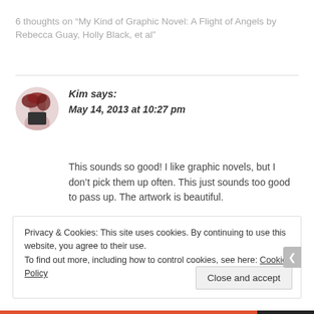6 thoughts on “My Kind of Graphic Novel: A Flight of Angels by Rebecca Guay, Holly Black, et al”
[Figure (photo): Circular avatar photo of a woman with red hair]
Kim says:
May 14, 2013 at 10:27 pm
This sounds so good! I like graphic novels, but I don’t pick them up often. This just sounds too good to pass up. The artwork is beautiful.
Reply
Privacy & Cookies: This site uses cookies. By continuing to use this website, you agree to their use.
To find out more, including how to control cookies, see here: Cookie Policy